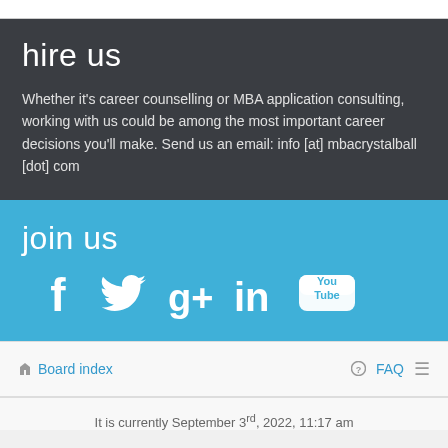hire us
Whether it's career counselling or MBA application consulting, working with us could be among the most important career decisions you'll make. Send us an email: info [at] mbacrystalball [dot] com
join us
[Figure (infographic): Social media icons: Facebook, Twitter, Google+, LinkedIn, YouTube]
Board index   FAQ
It is currently September 3rd, 2022, 11:17 am